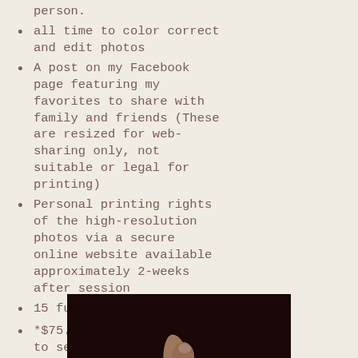person.
all time to color correct and edit photos
A post on my Facebook page featuring my favorites to share with family and friends (These are resized for web-sharing only, not suitable or legal for printing)
Personal printing rights of the high-resolution photos via a secure online website available approximately 2-weeks after session
15 fully edited photos
*$75.00 Deposit required to secure session date
[Figure (photo): Dark background photo showing a hand/finger with painted nail against black background]